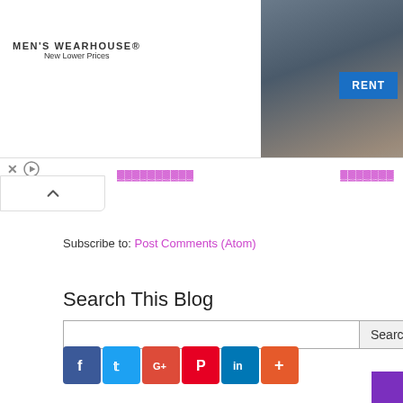[Figure (photo): Men's Wearhouse advertisement banner with couple in formal wear and a man in suit, RENT button]
Subscribe to: Post Comments (Atom)
Search This Blog
[Figure (infographic): Social media share buttons: Facebook, Twitter, Google+, Pinterest, LinkedIn, and a plus/more button]